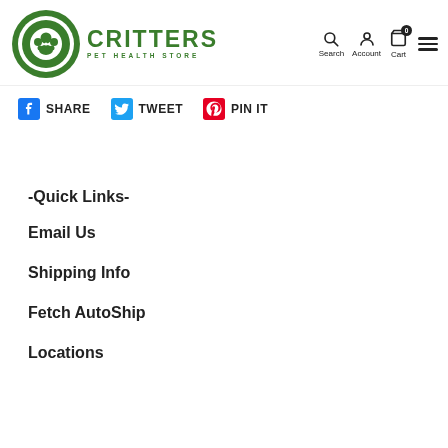[Figure (logo): Critters Pet Health Store logo — green circular paw print icon with concentric rings, beside green text 'CRITTERS' and subtitle 'PET HEALTH STORE']
Search | Account | Cart (0) | Menu
SHARE
TWEET
PIN IT
-Quick Links-
Email Us
Shipping Info
Fetch AutoShip
Locations